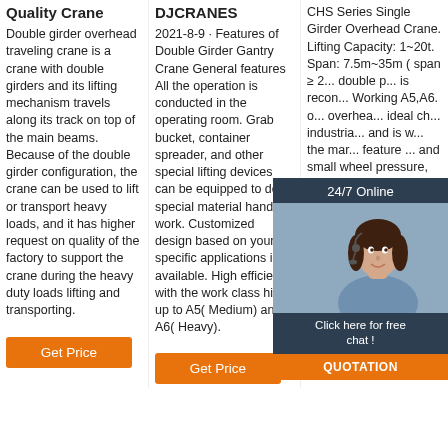Quality Crane
Double girder overhead traveling crane is a crane with double girders and its lifting mechanism travels along its track on top of the main beams. Because of the double girder configuration, the crane can be used to lift or transport heavy loads, and it has higher request on quality of the factory to support the crane during the heavy duty loads lifting and transporting.
Get Price
DJCRANES
2021-8-9 · Features of Double Girder Gantry Crane General features All the operation is conducted in the operating room. Grab bucket, container spreader, and other special lifting devices can be equipped to do special material handling work. Customized design based on your specific applications is available. High efficient, with the work class high up to A5( Medium) and A6( Heavy).
Get Price
CHS Series Single Girder Overhead Crane. Lifting Capacity: 1~20t. Span: 7.5m~35m ( span ≥ 2... double g... is recon... Working A5,A6. o... overhea... ideal ch... industria... and is w... the mar... feature ... and small wheel pressure, which can help ...
[Figure (photo): 24/7 Online chat popup with woman customer service representative and QUOTATION button]
Get Price